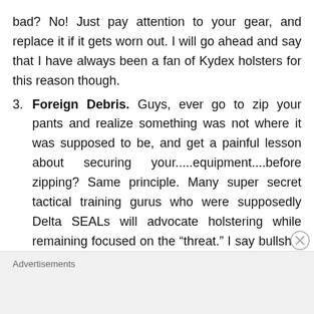bad? No! Just pay attention to your gear, and replace it if it gets worn out. I will go ahead and say that I have always been a fan of Kydex holsters for this reason though.
3. Foreign Debris. Guys, ever go to zip your pants and realize something was not where it was supposed to be, and get a painful lesson about securing your.....equipment....before zipping? Same principle. Many super secret tactical training gurus who were supposedly Delta SEALs will advocate holstering while remaining focused on the “threat.” I say bullshit. If there’s a “threat” that still warrants your eyes on him or her, why are you holstering?
Advertisements